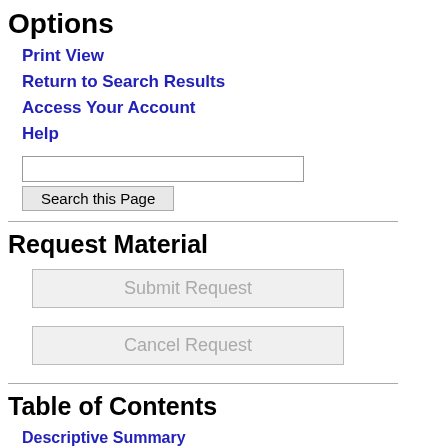Options
Print View
Return to Search Results
Access Your Account
Help
Request Material
Table of Contents
Descriptive Summary
Collection Description
Administrative Information
elected alderman, 1961 November 14. ( 6 (4x5") b/... )
RMC-IV.1 PF-01
Cook and four unidentified people at the Atlanta Republican Conference [see RMC PF 10 for same event], 1961. ( (8x10") )
RMC-IV.1 PF-02
Election night at campaign headquarters—Bob ?, RMC, Au Jimmie Mims, L McAden, Wiley Milam, Dr. Sidn Isenberg, and Jean Witherspoon, 1961. ( (4x5") b/ )
RMC-IV.1 PF-03
Promotional photographs of...